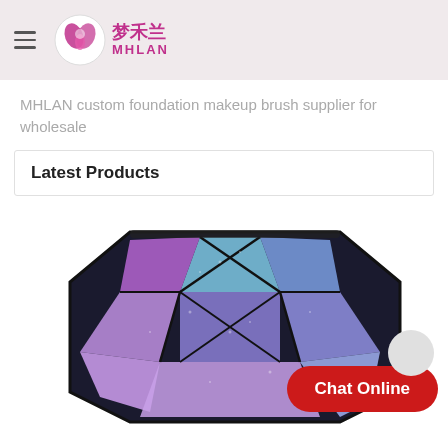梦禾兰 MHLAN
MHLAN custom foundation makeup brush supplier for wholesale
Latest Products
[Figure (photo): A glitter geometric makeup bag/pouch with colorful triangular faceted panels in purple, blue, and pink, partially visible from the top.]
Chat Online